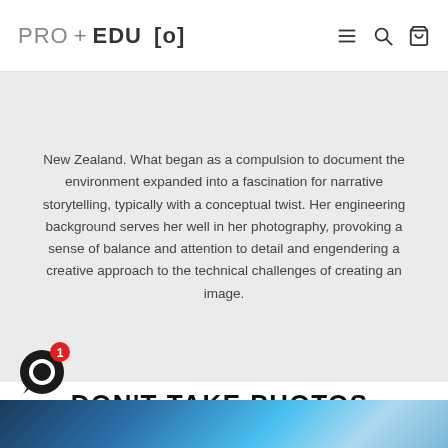PRO+EDU [o]
New Zealand. What began as a compulsion to document the environment expanded into a fascination for narrative storytelling, typically with a conceptual twist. Her engineering background serves her well in her photography, provoking a sense of balance and attention to detail and engendering a creative approach to the technical challenges of creating an image.
DON'T TAKE PHOTOS, MAKE IMAGES
[Figure (photo): Blue-toned photograph strip at bottom, showing what appears to be a camera or photography equipment in blue lighting]